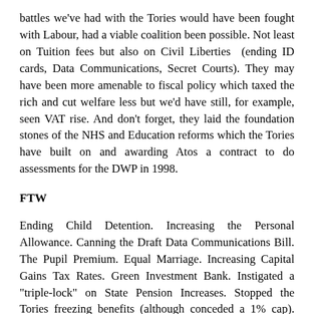battles we've had with the Tories would have been fought with Labour, had a viable coalition been possible. Not least on Tuition fees but also on Civil Liberties  (ending ID cards, Data Communications, Secret Courts). They may have been more amenable to fiscal policy which taxed the rich and cut welfare less but we'd have still, for example, seen VAT rise. And don't forget, they laid the foundation stones of the NHS and Education reforms which the Tories have built on and awarding Atos a contract to do assessments for the DWP in 1998.
FTW
Ending Child Detention. Increasing the Personal Allowance. Canning the Draft Data Communications Bill. The Pupil Premium. Equal Marriage. Increasing Capital Gains Tax Rates. Green Investment Bank. Instigated a "triple-lock" on State Pension Increases. Stopped the Tories freezing benefits (although conceded a 1% cap). Fought to keep a 5.2% increase in benefits in 2011 Autumn Statement against Tory resistance. Scrapped ID cards. Ended compulsory annuititisation of pensions at Age 75.